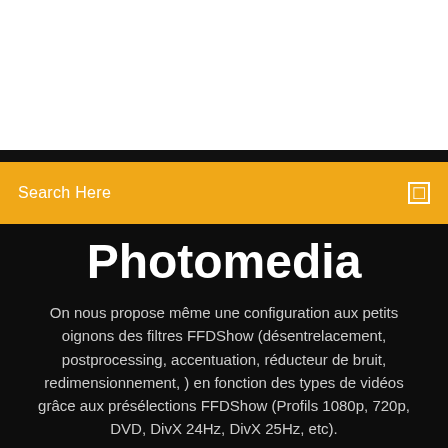[Figure (screenshot): White top area of a webpage]
Search Here
Photomedia
On nous propose même une configuration aux petits oignons des filtres FFDShow (désentrelacement, postprocessing, accentuation, réducteur de bruit, redimensionnement, ) en fonction des types de vidéos grâce aux présélections FFDShow (Profils 1080p, 720p, DVD, DivX 24Hz, DivX 25Hz, etc).